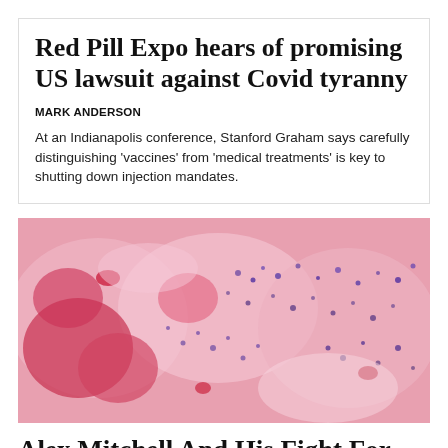Red Pill Expo hears of promising US lawsuit against Covid tyranny
MARK ANDERSON
At an Indianapolis conference, Stanford Graham says carefully distinguishing ‘vaccines’ from ‘medical treatments’ is key to shutting down injection mandates.
[Figure (photo): Histology microscope image showing tissue with pink and red staining, likely hematoxylin and eosin (H&E) stained tissue sample]
Alex Mitchell And His Fight For